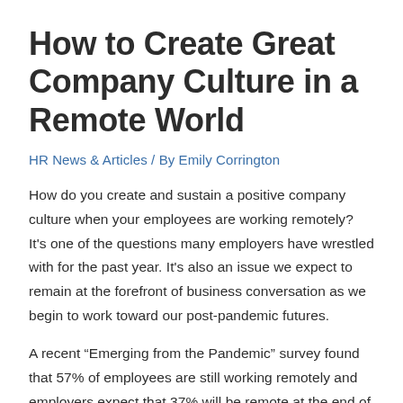How to Create Great Company Culture in a Remote World
HR News & Articles / By Emily Corrington
How do you create and sustain a positive company culture when your employees are working remotely? It’s one of the questions many employers have wrestled with for the past year. It’s also an issue we expect to remain at the forefront of business conversation as we begin to work toward our post-pandemic futures.
A recent “Emerging from the Pandemic” survey found that 57% of employees are still working remotely and employers expect that 37% will be remote at the end of 2021. (Willis Towers Watson)